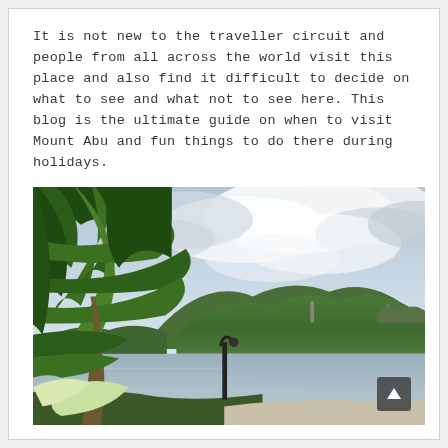It is not new to the traveller circuit and people from all across the world visit this place and also find it difficult to decide on what to see and what not to see here. This blog is the ultimate guide on when to visit Mount Abu and fun things to do there during holidays.
[Figure (photo): Outdoor HDR photograph of Mount Abu showing lush tropical foliage and palm trees on the left, a calm lake/reservoir in the middle ground, green hills with buildings in the background, and a dramatic cloudy sky. A lamp post is visible near the waterfront.]